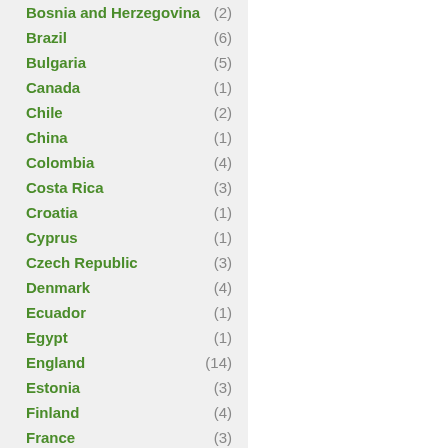Bosnia and Herzegovina (2)
Brazil (6)
Bulgaria (5)
Canada (1)
Chile (2)
China (1)
Colombia (4)
Costa Rica (3)
Croatia (1)
Cyprus (1)
Czech Republic (3)
Denmark (4)
Ecuador (1)
Egypt (1)
England (14)
Estonia (3)
Finland (4)
France (3)